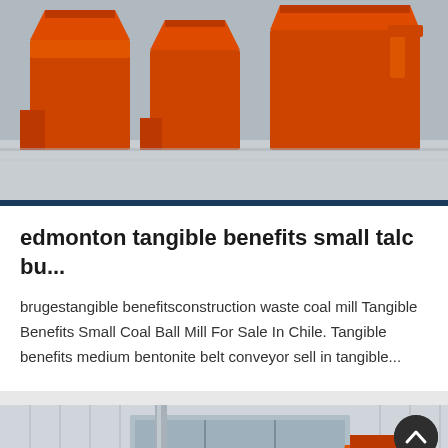[Figure (photo): Orange industrial mining/crushing equipment (jaw crushers or similar) arranged outdoors on a concrete surface, painted bright orange.]
edmonton tangible benefits small talc bu...
brugestangible benefitsconstruction waste coal mill Tangible Benefits Small Coal Ball Mill For Sale In Chile. Tangible benefits medium bentonite belt conveyor sell in tangible...
[Figure (photo): Industrial setting showing a large cylindrical drum (ball mill or similar) and orange mining equipment inside or near a warehouse with metal-framed windows.]